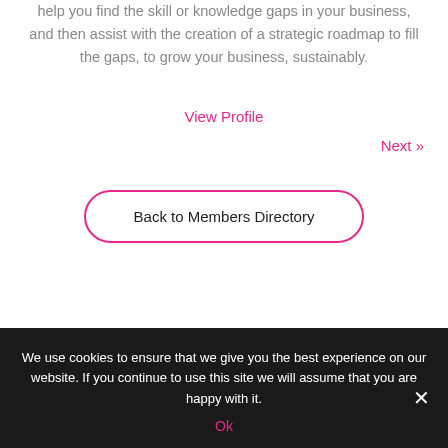help you find the skill or knowledge gaps in your business, and then assist with the creation of a strategic roadmap to fill the gaps, to grow your business, sustainably.
View Profile
Next »
Back to Members Directory
We use cookies to ensure that we give you the best experience on our website. If you continue to use this site we will assume that you are happy with it.
Ok